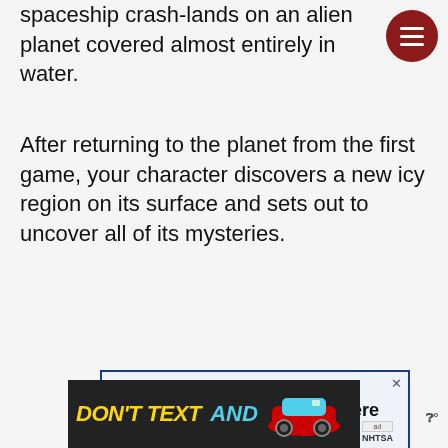spaceship crash-lands on an alien planet covered almost entirely in water.
After returning to the planet from the first game, your character discovers a new icy region on its surface and sets out to uncover all of its mysteries.
[Figure (screenshot): Advertisement banner: 'From Hello to Help, 211 is Here' with blue border on light blue background, with close X button]
[Figure (screenshot): Bottom advertisement banner: 'DON'T TEXT AND' with yellow and cyan text on dark background, showing a red car graphic, ad badge, NHTSA logo, and Wordmark logo]